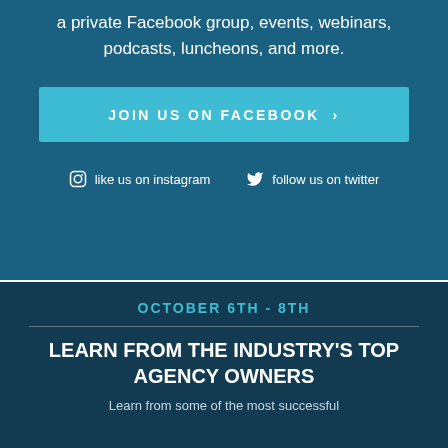a private Facebook group, events, webinars, podcasts, luncheons, and more.
JOIN US ON FACEBOOK >
like us on instagram   follow us on twitter
OCTOBER 6TH - 8TH
LEARN FROM THE INDUSTRY'S TOP AGENCY OWNERS
Learn from some of the most successful